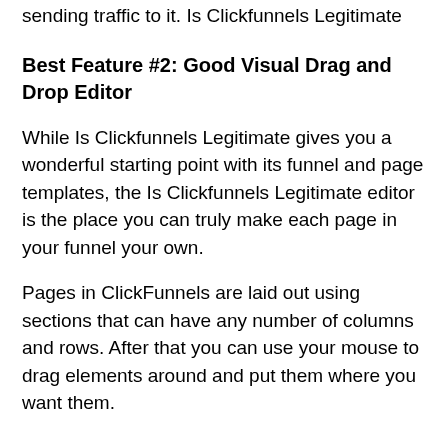sending traffic to it. Is Clickfunnels Legitimate
Best Feature #2: Good Visual Drag and Drop Editor
While Is Clickfunnels Legitimate gives you a wonderful starting point with its funnel and page templates, the Is Clickfunnels Legitimate editor is the place you can truly make each page in your funnel your own.
Pages in ClickFunnels are laid out using sections that can have any number of columns and rows. After that you can use your mouse to drag elements around and put them where you want them.